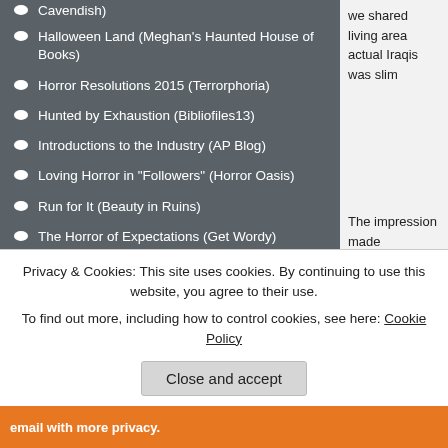Cavendish)
Halloween Land (Meghan's Haunted House of Books)
Horror Resolutions 2015 (Terrorphoria)
Hunted by Exhaustion (Bibliofiles13)
Introductions to the Industry (AP Blog)
Loving Horror in "Followers" (Horror Oasis)
Run for It (Beauty in Ruins)
The Horror of Expectations (Get Wordy)
The Horror of Us (Terrorphoria)
The Line Between (Horror After Dark)
The Writer's Escape (Steel City Intrigue)
Trick r Treat and Halloween (Meghan's Haunted House of Books)
When Halloween Takes Over (Meghan's Haunted House of Books)
Why We Love Horror (Terrorphoria)
we shared living area... actual Iraqis was slim
The impression made... around me was diffe... the threat. Talking to... magazine or link on R... charity in their names
My little taste of war,
Privacy & Cookies: This site uses cookies. By continuing to use this website, you agree to their use.
To find out more, including how to control cookies, see here: Cookie Policy
Close and accept
email with more privacy.